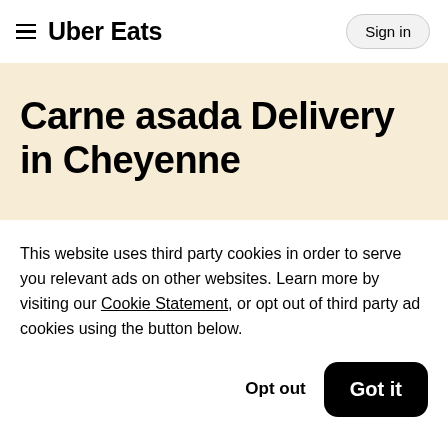Uber Eats — Sign in
Carne asada Delivery in Cheyenne
This website uses third party cookies in order to serve you relevant ads on other websites. Learn more by visiting our Cookie Statement, or opt out of third party ad cookies using the button below.